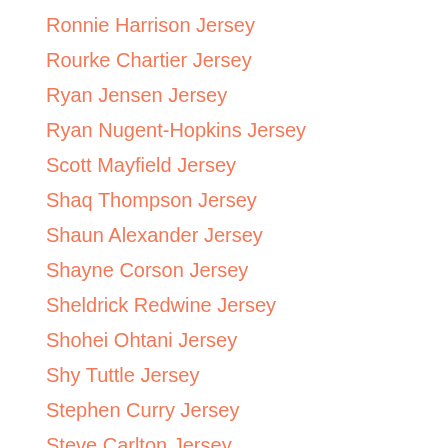Ronnie Harrison Jersey
Rourke Chartier Jersey
Ryan Jensen Jersey
Ryan Nugent-Hopkins Jersey
Scott Mayfield Jersey
Shaq Thompson Jersey
Shaun Alexander Jersey
Shayne Corson Jersey
Sheldrick Redwine Jersey
Shohei Ohtani Jersey
Shy Tuttle Jersey
Stephen Curry Jersey
Steve Carlton Jersey
Steven Nelson Jersey
Taron Johnson Jersey